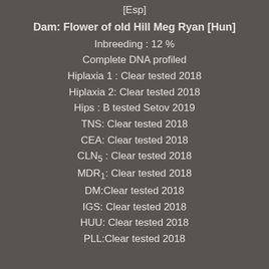[Esp]
Dam: Flower of old Hill Meg Ryan [Hun]
Inbreeding : 12 %
Complete DNA profiled
Hiplaxia 1 : Clear tested 2018
Hiplaxia 2: Clear tested 2018
Hips : B tested Setov 2019
TNS: Clear tested 2018
CEA: Clear tested 2018
CLN5 : Clear tested 2018
MDR1: Clear tested 2018
DM:Clear tested 2018
IGS: Clear tested 2018
HUU: Clear tested 2018
PLL:Clear tested 2018